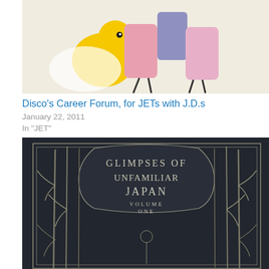[Figure (illustration): Cartoon illustration with colorful bird and stylized figures on a light beige background — top portion of image cropped]
Disco's Career Forum, for JETs with J.D.s
January 22, 2011
In "JET"
[Figure (photo): Book cover of 'Glimpses of Unfamiliar Japan, Volume One' — dark navy/grey cover with Art Nouveau bamboo and floral decorative border, ornate lettering]
JET on Your Resume
April 10, 2010
In "JET"
[Figure (photo): Colorful image — bottom portion barely visible, cropped]